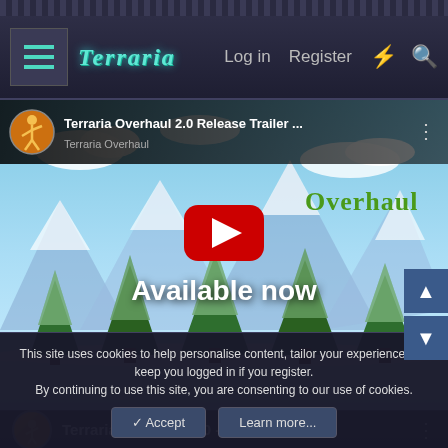Terraria | Log in | Register
[Figure (screenshot): YouTube embed of Terraria Overhaul 2.0 Release Trailer with play button overlay, 'Available now' text, and winter/mountain background scene]
Terraria Overhaul 2.0 Release Trailer ...
Terraria Overhaul 1.0 - Release Trailer
This site uses cookies to help personalise content, tailor your experience and keep you logged in if you register.
By continuing to use this site, you are consenting to our use of cookies.
✓ Accept   Learn more...